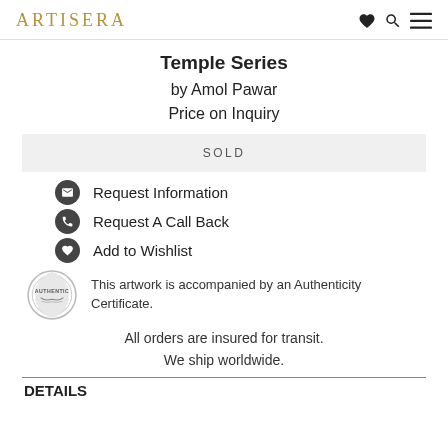ARTISERA
Temple Series
by Amol Pawar
Price on Inquiry
SOLD
Request Information
Request A Call Back
Add to Wishlist
This artwork is accompanied by an Authenticity Certificate.
All orders are insured for transit. We ship worldwide.
DETAILS